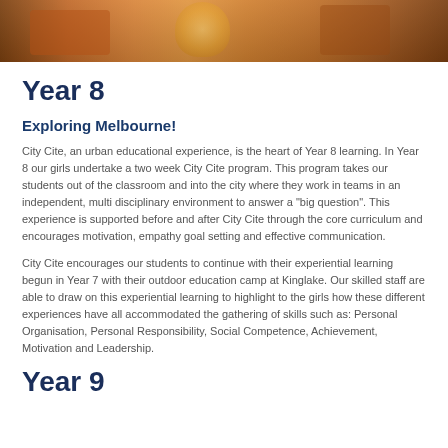[Figure (photo): A photo strip at the top showing students, one wearing a yellow/orange outfit, in what appears to be a school or performance setting with warm orange/brown tones.]
Year 8
Exploring Melbourne!
City Cite, an urban educational experience, is the heart of Year 8 learning. In Year 8 our girls undertake a two week City Cite program. This program takes our students out of the classroom and into the city where they work in teams in an independent, multi disciplinary environment to answer a "big question". This experience is supported before and after City Cite through the core curriculum and encourages motivation, empathy goal setting and effective communication.
City Cite encourages our students to continue with their experiential learning begun in Year 7 with their outdoor education camp at Kinglake. Our skilled staff are able to draw on this experiential learning to highlight to the girls how these different experiences have all accommodated the gathering of skills such as: Personal Organisation, Personal Responsibility, Social Competence, Achievement, Motivation and Leadership.
Year 9